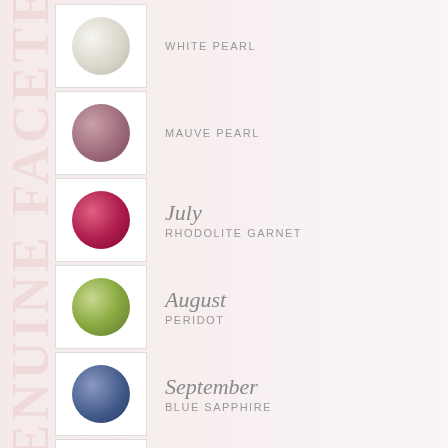[Figure (illustration): Vertical watermark text reading GENUINE FACETED rotated 90 degrees on the left side of the page in light pink color]
WHITE PEARL - gem circle shown (partial, top of page)
MAUVE PEARL - gem circle shown
July / RHODOLITE GARNET
August / PERIDOT
September / BLUE SAPPHIRE
October / PINK OPAL